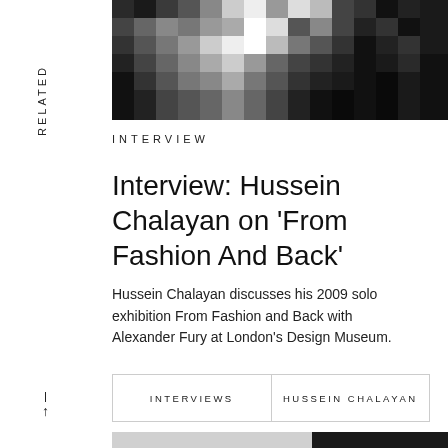[Figure (photo): Pixelated/mosaic abstract image in dark tones (black, grey, white) at the top of the page]
RELATED
INTERVIEW
Interview: Hussein Chalayan on 'From Fashion And Back'
Hussein Chalayan discusses his 2009 solo exhibition From Fashion and Back with Alexander Fury at London's Design Museum.
INTERVIEWS
HUSSEIN CHALAYAN
[Figure (photo): Black and white portrait photograph of Hussein Chalayan, partially visible at the bottom of the page]